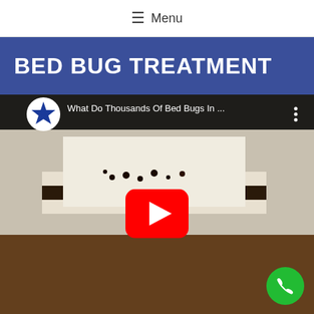≡ Menu
BED BUG TREATMENT
[Figure (screenshot): YouTube video thumbnail showing bed bugs on a mattress edge and carpet. Video title: 'What Do Thousands Of Bed Bugs In ...' with a YouTube play button overlay. Channel logo shows a blue star icon with letter B. A green phone call button is visible in the bottom right corner.]